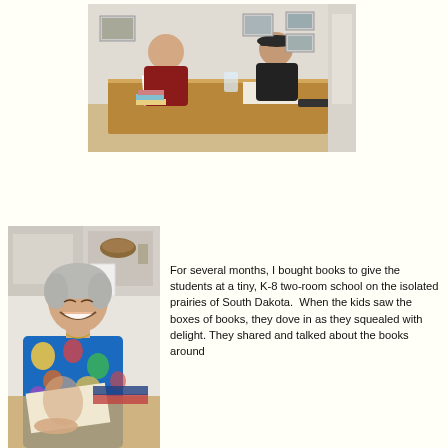[Figure (photo): Two men sitting at a long wooden table in a room with windows and framed pictures on the wall. One man wears a red shirt, the other a black shirt. Papers and items are on the table.]
[Figure (photo): An older woman with gray hair wearing a colorful floral top, smiling broadly, sitting at a table with books and magazines visible.]
For several months, I bought books to give the students at a tiny, K-8 two-room school on the isolated prairies of South Dakota.  When the kids saw the boxes of books, they dove in as they squealed with delight. They shared and talked about the books around